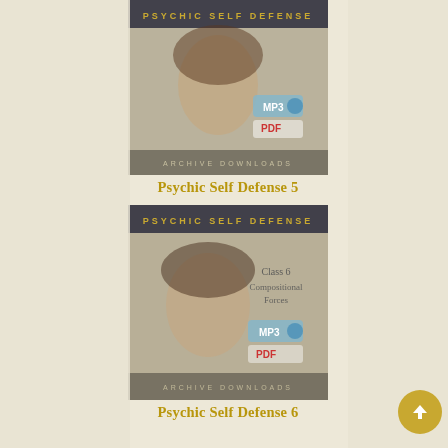[Figure (illustration): Psychic Self Defense Class 5 product image showing a woman's face with MP3 and PDF archive download icons, header text 'PSYCHIC SELF DEFENSE']
Psychic Self Defense 5
[Figure (illustration): Psychic Self Defense Class 6 Compositional Forces product image showing a woman's face with MP3 and PDF archive download icons, header text 'PSYCHIC SELF DEFENSE']
Psychic Self Defense 6
[Figure (illustration): Psychic Self Defense Class 7 Starseeds product image showing a woman's face with MP3 and PDF archive download icons, header text 'PSYCHIC SELF DEFENSE']
Psychic Self Defense 7
[Figure (illustration): Psychic Self Defense Class 8 (partially visible at bottom) product image]